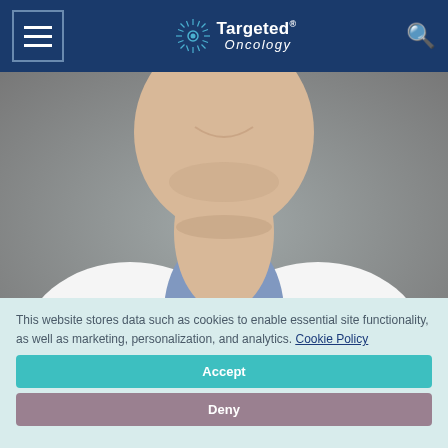Targeted Oncology
[Figure (photo): Headshot portrait of Jonathan Wesley Riess, MD, MS — a man in a white physician coat and blue shirt, photographed from the chest up, smiling slightly, against a neutral grey background.]
Jonathan Wesley Riess, MD, MS (Moderator)
This website stores data such as cookies to enable essential site functionality, as well as marketing, personalization, and analytics. Cookie Policy
Accept
Deny